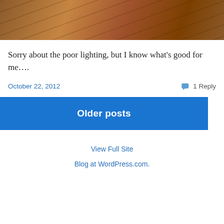[Figure (photo): Close-up photo of brown fabric or suede material with fold/seam detail, warm brown tones]
Sorry about the poor lighting, but I know what's good for me….
October 22, 2012
1 Reply
Older posts
View Full Site
Blog at WordPress.com.